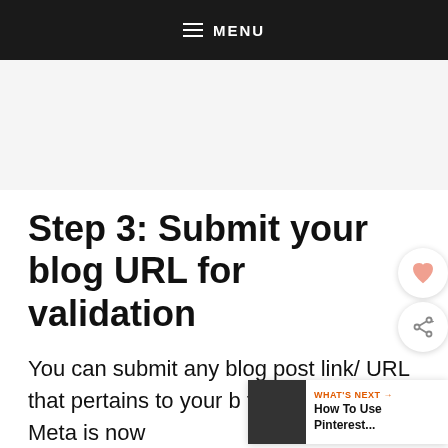MENU
[Figure (other): Advertisement/banner placeholder area with light gray background]
Step 3: Submit your blog URL for validation
You can submit any blog post link/ URL that pertains to your b the Open Graph Meta is now